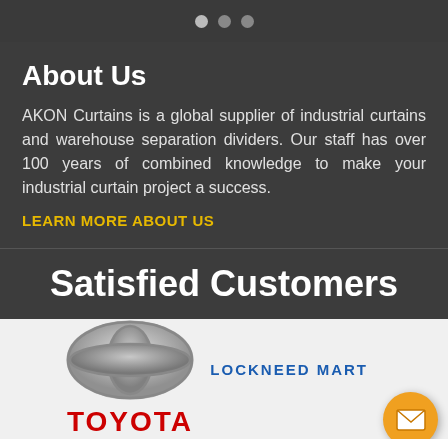[Figure (other): Three pagination dots (two gray, one lighter) used as a carousel indicator]
About Us
AKON Curtains is a global supplier of industrial curtains and warehouse separation dividers. Our staff has over 100 years of combined knowledge to make your industrial curtain project a success.
LEARN MORE ABOUT US
Satisfied Customers
[Figure (logo): Toyota logo (chrome ellipse emblem) with red TOYOTA text below]
[Figure (logo): Lockheed Martin logo with blue bold text LOCKNEED MART]